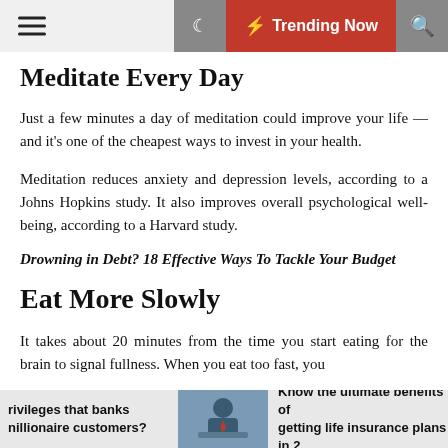Meditate Every Day — Trending Now
Meditate Every Day
Just a few minutes a day of meditation could improve your life — and it's one of the cheapest ways to invest in your health.
Meditation reduces anxiety and depression levels, according to a Johns Hopkins study. It also improves overall psychological well-being, according to a Harvard study.
Drowning in Debt? 18 Effective Ways To Tackle Your Budget
Eat More Slowly
It takes about 20 minutes from the time you start eating for the brain to signal fullness. When you eat too fast, you
rivileges that banks millionaire customers? | Know the ultimate benefits of getting life insurance plans in 2